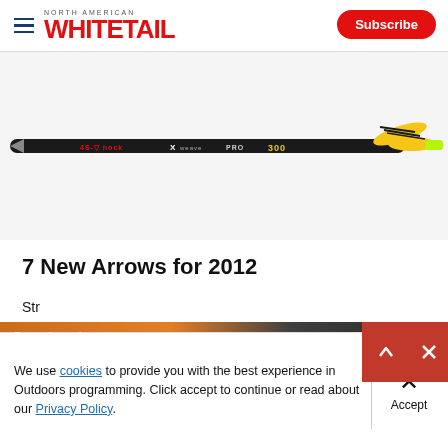North American Whitetail — Subscribe
[Figure (photo): Close-up photo of a black carbon arrow shaft with red and white brand markings reading 'nock X weave PRO 300', with yellow vanes/fletching at the right end, on a white background.]
7 New Arrows for 2012
Str…
[Figure (other): Advertisement overlay banner with PawnAmerica branding and dark semi-transparent background with orange gradient.]
We use cookies to provide you with the best experience in Outdoors programming. Click accept to continue or read about our Privacy Policy.